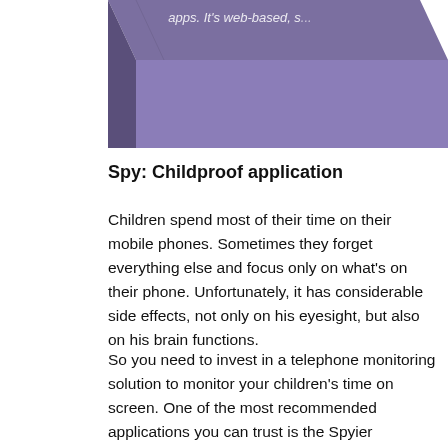[Figure (illustration): Partial view of a purple 3D box/package with white text reading 'apps. It’s web-based, s...' on the top face]
Spy: Childproof application
Children spend most of their time on their mobile phones. Sometimes they forget everything else and focus only on what’s on their phone. Unfortunately, it has considerable side effects, not only on his eyesight, but also on his brain functions.
So you need to invest in a telephone monitoring solution to monitor your children’s time on screen. One of the most recommended applications you can trust is the Spyier